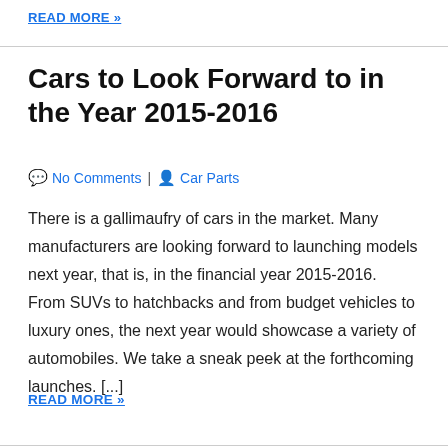READ MORE »
Cars to Look Forward to in the Year 2015-2016
No Comments | Car Parts
There is a gallimaufry of cars in the market. Many manufacturers are looking forward to launching models next year, that is, in the financial year 2015-2016. From SUVs to hatchbacks and from budget vehicles to luxury ones, the next year would showcase a variety of automobiles. We take a sneak peek at the forthcoming launches. [...]
READ MORE »